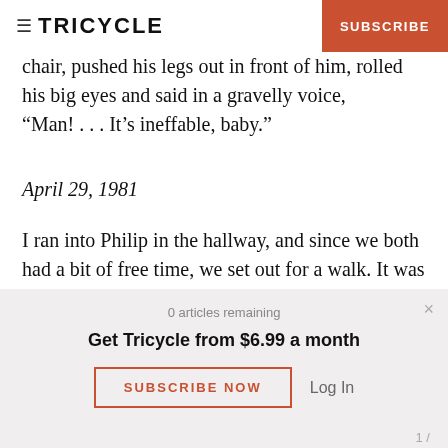TRICYCLE | SUBSCRIBE
chair, pushed his legs out in front of him, rolled his big eyes and said in a gravelly voice, “Man! . . . It’s ineffable, baby.”
April 29, 1981
I ran into Philip in the hallway, and since we both had a bit of free time, we set out for a walk. It was a smoggy, hot morning. As we passed the fence where the morning-glories grew, I told him the
0 articles remaining
Get Tricycle from $6.99 a month
SUBSCRIBE NOW
Log In